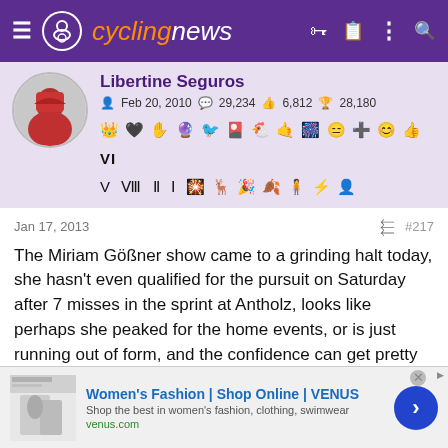cyclingnews
Libertine Seguros
Feb 20, 2010   29,234   6,812   28,180
[Figure (other): Badge/achievement icons row]
Jan 17, 2013   #217
The Miriam Gößner show came to a grinding halt today, she hasn't even qualified for the pursuit on Saturday after 7 misses in the sprint at Antholz, looks like perhaps she peaked for the home events, or is just running out of form, and the confidence can get pretty frail when you miss several like that, bringin back memories of Pokljuka back in 2010. It doesn't totally spell the end of her World Cup bid, as you can wipe out your two weakest results (which would be this and
[Figure (other): Ad banner: Women's Fashion | Shop Online | VENUS, venus.com]